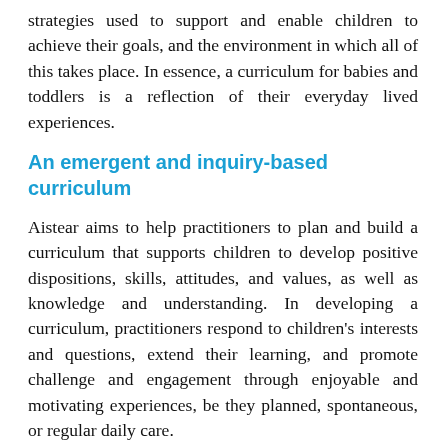strategies used to support and enable children to achieve their goals, and the environment in which all of this takes place. In essence, a curriculum for babies and toddlers is a reflection of their everyday lived experiences.
An emergent and inquiry-based curriculum
Aistear aims to help practitioners to plan and build a curriculum that supports children to develop positive dispositions, skills, attitudes, and values, as well as knowledge and understanding. In developing a curriculum, practitioners respond to children's interests and questions, extend their learning, and promote challenge and engagement through enjoyable and motivating experiences, be they planned, spontaneous, or regular daily care.